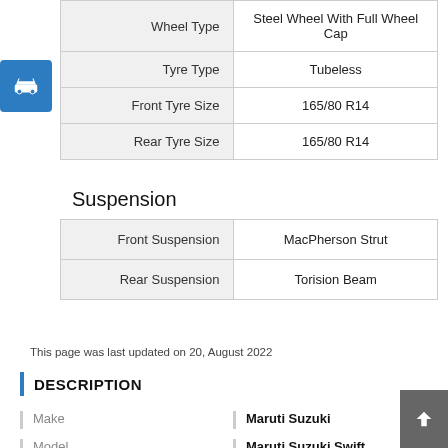| Property | Value |
| --- | --- |
| Wheel Type | Steel Wheel With Full Wheel Cap |
| Tyre Type | Tubeless |
| Front Tyre Size | 165/80 R14 |
| Rear Tyre Size | 165/80 R14 |
Suspension
| Property | Value |
| --- | --- |
| Front Suspension | MacPherson Strut |
| Rear Suspension | Torision Beam |
This page was last updated on 20, August 2022
DESCRIPTION
Make: Maruti Suzuki
Model: Maruti Suzuki Swift
Body Type: Hatchback
Engine: DDiS Diesel Engine